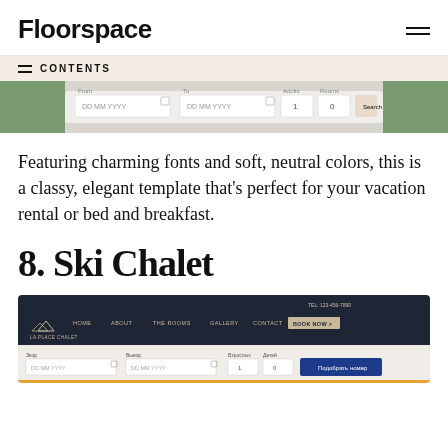Floorspace
CONTENTS
[Figure (screenshot): Screenshot of a vacation rental website booking bar with date inputs and a search button, showing a scenic photo in the background]
Featuring charming fonts and soft, neutral colors, this is a classy, elegant template that's perfect for your vacation rental or bed and breakfast.
8. Ski Chalet
[Figure (screenshot): Screenshot of the Ski Chalet website template showing a dark navy navigation bar with logo 'LA PLACE CHALET', nav links HOME, ABOUT, THE ROOMS, GALLERY, CONTACT, BOOK NOW, and a booking form below with date fields and a blue search button]